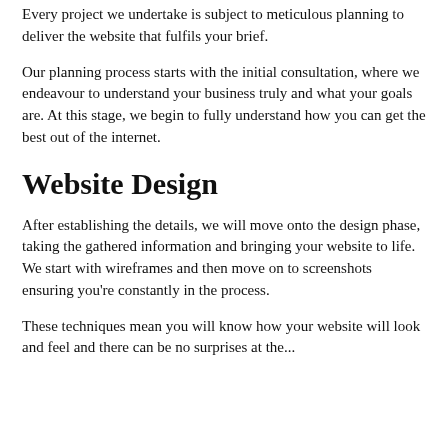Every project we undertake is subject to meticulous planning to deliver the website that fulfils your brief.
Our planning process starts with the initial consultation, where we endeavour to understand your business truly and what your goals are. At this stage, we begin to fully understand how you can get the best out of the internet.
Website Design
After establishing the details, we will move onto the design phase, taking the gathered information and bringing your website to life. We start with wireframes and then move on to screenshots ensuring you're constantly in the process.
These techniques mean you will know how your website will look and feel and there can be no surprises at the...